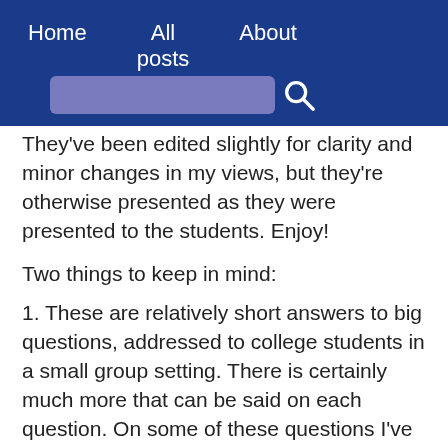Home   All posts   About
They've been edited slightly for clarity and minor changes in my views, but they're otherwise presented as they were presented to the students. Enjoy!
Two things to keep in mind:
1. These are relatively short answers to big questions, addressed to college students in a small group setting. There is certainly much more that can be said on each question. On some of these questions I've already written a whole series of posts, or I plan on doing so in the future.
2. Don't let the little things keep you from the central message of Christianity: that although God